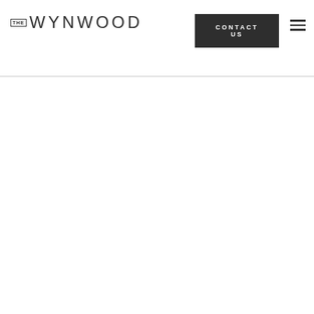THE WYNWOOD | CONTACT US
[Figure (logo): The Wynwood logo: small boxed 'THE' text followed by 'WYNWOOD' in large spaced uppercase letters]
[Figure (screenshot): CONTACT US button in dark gray/charcoal background with white uppercase text]
[Figure (illustration): Hamburger menu icon: three horizontal lines stacked vertically]